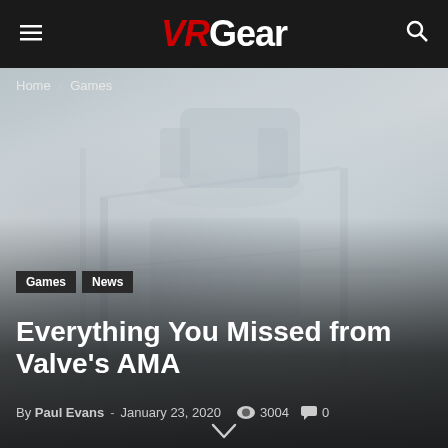VRGear
Home › Games
[Figure (photo): Hero image showing VR equipment/headset in a misty/foggy gray-toned scene]
Games   News
Everything You Missed from Valve's AMA
By Paul Evans - January 23, 2020   3004   0